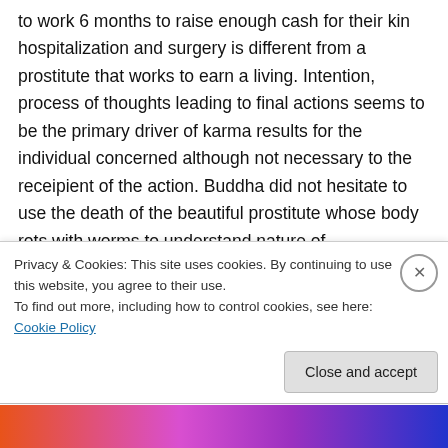to work 6 months to raise enough cash for their kin hospitalization and surgery is different from a prostitute that works to earn a living. Intention, process of thoughts leading to final actions seems to be the primary driver of karma results for the individual concerned although not necessary to the receipient of the action. Buddha did not hesitate to use the death of the beautiful prostitute whose body rots with worms to understand nature of impermanence and the workings of the human mind
Privacy & Cookies: This site uses cookies. By continuing to use this website, you agree to their use.
To find out more, including how to control cookies, see here: Cookie Policy
Close and accept